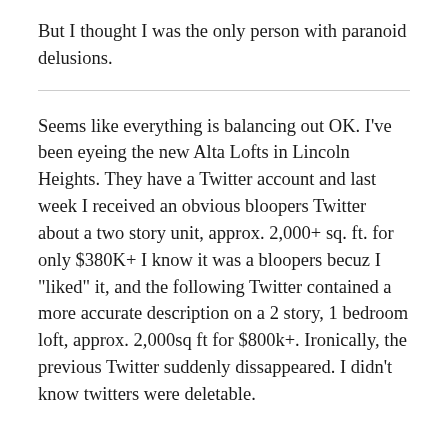But I thought I was the only person with paranoid delusions.
Seems like everything is balancing out OK. I've been eyeing the new Alta Lofts in Lincoln Heights. They have a Twitter account and last week I received an obvious bloopers Twitter about a two story unit, approx. 2,000+ sq. ft. for only $380K+ I know it was a bloopers becuz I "liked" it, and the following Twitter contained a more accurate description on a 2 story, 1 bedroom loft, approx. 2,000sq ft for $800k+. Ironically, the previous Twitter suddenly dissappeared. I didn't know twitters were deletable.